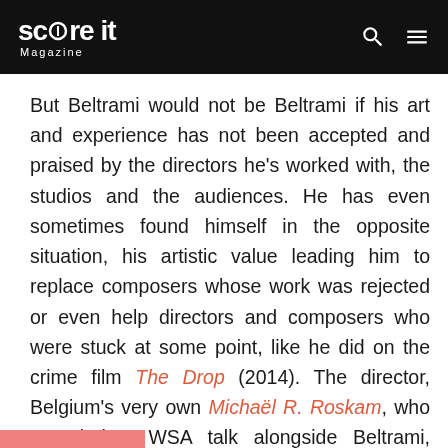Score It Magazine
But Beltrami would not be Beltrami if his art and experience has not been accepted and praised by the directors he's worked with, the studios and the audiences. He has even sometimes found himself in the opposite situation, his artistic value leading him to replace composers whose work was rejected or even help directors and composers who were stuck at some point, like he did on the crime film The Drop (2014). The director, Belgium's very own Michaël R. Roskam, who attended a WSA talk alongside Beltrami, remembers the story, saying that over the post-production process, 'the movie